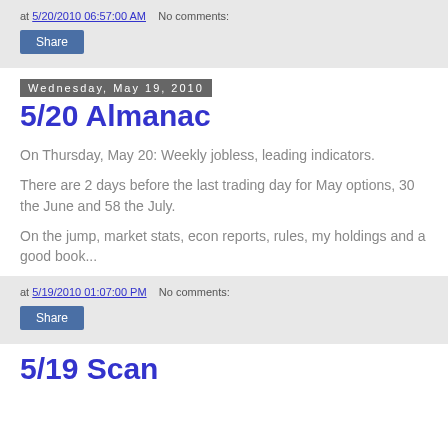at 5/20/2010 06:57:00 AM   No comments:
Share
Wednesday, May 19, 2010
5/20 Almanac
On Thursday, May 20: Weekly jobless, leading indicators.
There are 2 days before the last trading day for May options, 30 the June and 58 the July.
On the jump, market stats, econ reports, rules, my holdings and a good book...
at 5/19/2010 01:07:00 PM   No comments:
Share
5/19 Scan